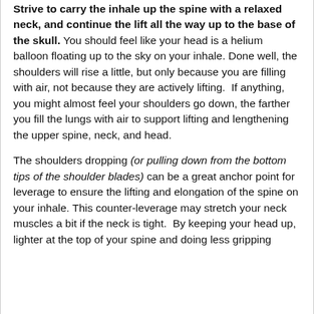Strive to carry the inhale up the spine with a relaxed neck, and continue the lift all the way up to the base of the skull. You should feel like your head is a helium balloon floating up to the sky on your inhale. Done well, the shoulders will rise a little, but only because you are filling with air, not because they are actively lifting.  If anything, you might almost feel your shoulders go down, the farther you fill the lungs with air to support lifting and lengthening the upper spine, neck, and head.
The shoulders dropping (or pulling down from the bottom tips of the shoulder blades) can be a great anchor point for leverage to ensure the lifting and elongation of the spine on your inhale. This counter-leverage may stretch your neck muscles a bit if the neck is tight.  By keeping your head up, lighter at the top of your spine and doing less gripping